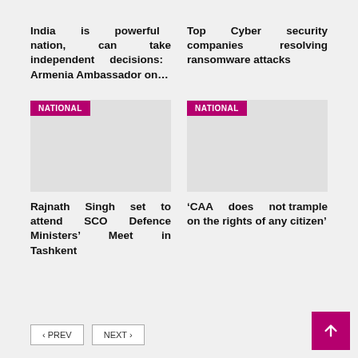India is powerful nation, can take independent decisions: Armenia Ambassador on...
Top Cyber security companies resolving ransomware attacks
[Figure (photo): Image placeholder with NATIONAL badge, associated with Rajnath Singh SCO article]
[Figure (photo): Image placeholder with NATIONAL badge, associated with CAA article]
Rajnath Singh set to attend SCO Defence Ministers' Meet in Tashkent
‘CAA does not trample on the rights of any citizen’